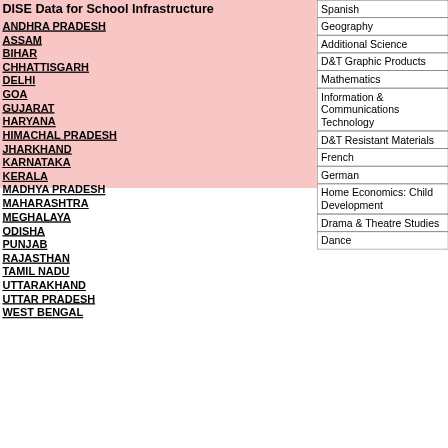DISE Data for School Infrastructure
ANDHRA PRADESH
ASSAM
BIHAR
CHHATTISGARH
DELHI
GOA
GUJARAT
HARYANA
HIMACHAL PRADESH
JHARKHAND
KARNATAKA
KERALA
MADHYA PRADESH
MAHARASHTRA
MEGHALAYA
ODISHA
PUNJAB
RAJASTHAN
TAMIL NADU
UTTARAKHAND
UTTAR PRADESH
WEST BENGAL
Spanish
Geography
Additional Science
D&T Graphic Products
Mathematics
Information & Communications Technology
D&T Resistant Materials
French
German
Home Economics: Child Development
Drama & Theatre Studies
Dance